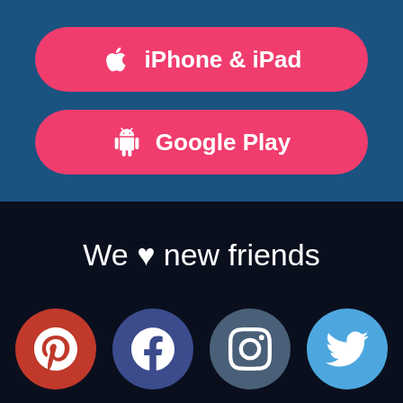[Figure (infographic): Pink rounded button with Apple logo icon and text 'iPhone & iPad' on a dark blue background]
[Figure (infographic): Pink rounded button with Android robot icon and text 'Google Play' on a dark blue background]
We ♥ new friends
[Figure (infographic): Row of four social media circular icons: Pinterest (red), Facebook (dark blue), Instagram (slate blue), Twitter (light blue)]